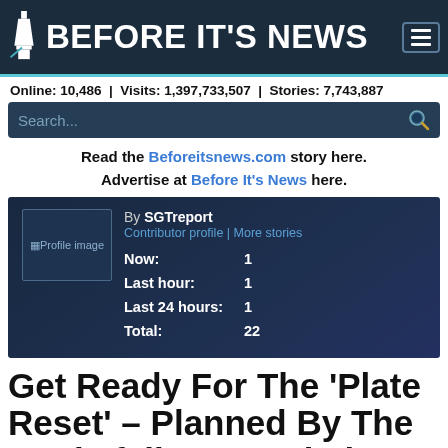BEFORE IT'S NEWS
Online: 10,486 | Visits: 1,397,733,507 | Stories: 7,743,887
Read the Beforeitsnews.com story here. Advertise at Before It's News here.
[Figure (other): Contributor profile card showing: By SGTreport, Contributor profile | More stories, Now: 1, Last hour: 1, Last 24 hours: 1, Total: 22]
Get Ready For The 'Plate Reset' – Planned By The Rockefeller Foundation And Executed By The World